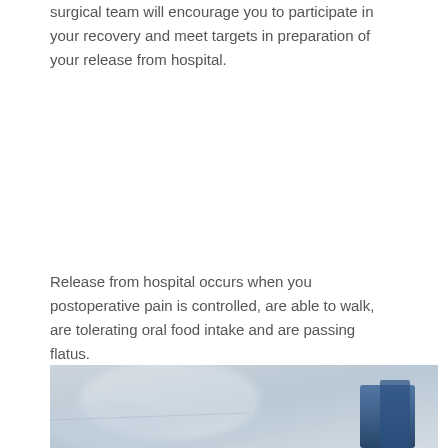surgical team will encourage you to participate in your recovery and meet targets in preparation of your release from hospital.
Release from hospital occurs when you postoperative pain is controlled, are able to walk, are tolerating oral food intake and are passing flatus.
[Figure (photo): Partial photo of a medical/hospital scene with a blurred light-colored background and a dark blue object (possibly medical equipment or clothing) on the right side.]